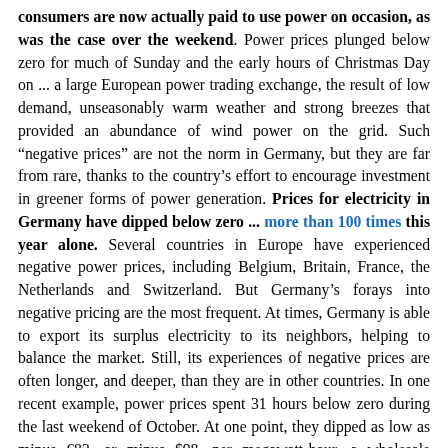consumers are now actually paid to use power on occasion, as was the case over the weekend. Power prices plunged below zero for much of Sunday and the early hours of Christmas Day on ... a large European power trading exchange, the result of low demand, unseasonably warm weather and strong breezes that provided an abundance of wind power on the grid. Such “negative prices” are not the norm in Germany, but they are far from rare, thanks to the country’s effort to encourage investment in greener forms of power generation. Prices for electricity in Germany have dipped below zero ... more than 100 times this year alone. Several countries in Europe have experienced negative power prices, including Belgium, Britain, France, the Netherlands and Switzerland. But Germany’s forays into negative pricing are the most frequent. At times, Germany is able to export its surplus electricity to its neighbors, helping to balance the market. Still, its experiences of negative prices are often longer, and deeper, than they are in other countries. In one recent example, power prices spent 31 hours below zero during the last weekend of October. At one point, they dipped as low as minus €83, or minus $98, per megawatt-hour, a wholesale measure. Anyone who was able to book up for a large blast of electricity at that time was paid €83